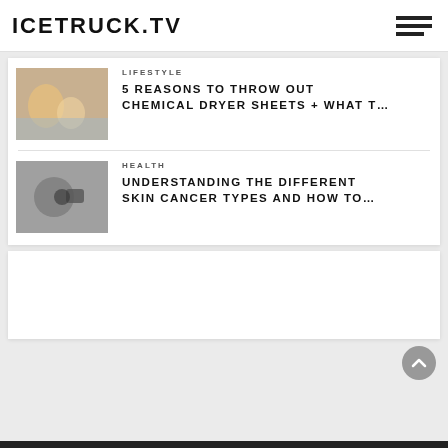ICETRUCK.TV
LIFESTYLE
5 REASONS TO THROW OUT CHEMICAL DRYER SHEETS + WHAT T…
HEALTH
UNDERSTANDING THE DIFFERENT SKIN CANCER TYPES AND HOW TO…
[Figure (photo): Blank white advertisement box]